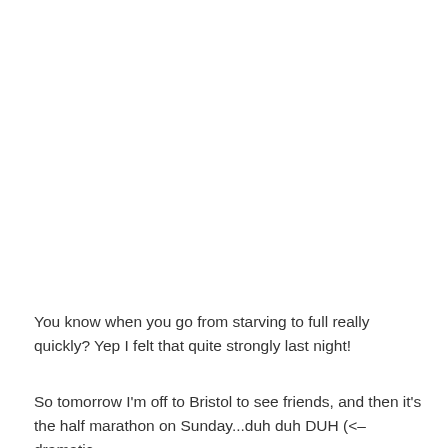You know when you go from starving to full really quickly? Yep I felt that quite strongly last night!
So tomorrow I'm off to Bristol to see friends, and then it's the half marathon on Sunday...duh duh DUH (<– dramatic